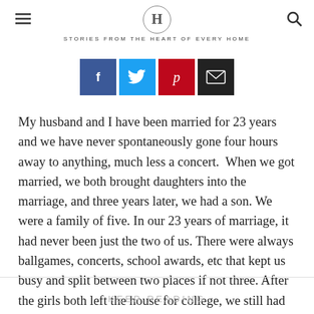H | STORIES FROM THE HEART OF EVERY HOME
[Figure (infographic): Social sharing buttons: Facebook (blue), Twitter (cyan), Pinterest (red), Email (black)]
My husband and I have been married for 23 years and we have never spontaneously gone four hours away to anything, much less a concert.  When we got married, we both brought daughters into the marriage, and three years later, we had a son. We were a family of five. In our 23 years of marriage, it had never been just the two of us. There were always ballgames, concerts, school awards, etc that kept us busy and split between two places if not three. After the girls both left the house for college, we still had our son. While...
KEEP READING